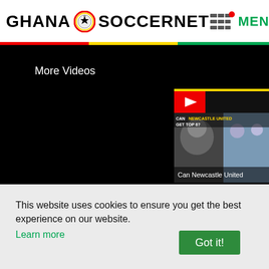GHANA SOCCERNET MENU
More Videos
[Figure (screenshot): Video thumbnail showing 'CAN NEWCASTLE UNITED GET TOP 6?' with two men and soccer players visible, play button overlay]
Can Newcastle United
This website uses cookies to ensure you get the best experience on our website. Learn more
Got it!